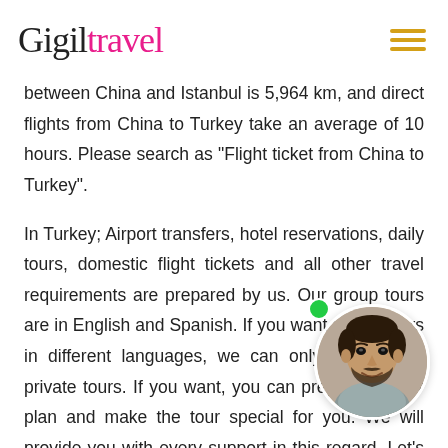Gigil travel
between China and Istanbul is 5,964 km, and direct flights from China to Turkey take an average of 10 hours. Please search as "Flight ticket from China to Turkey".
In Turkey; Airport transfers, hotel reservations, daily tours, domestic flight tickets and all other travel requirements are prepared by us. Our group tours are in English and Spanish. If you want to buy tours in different languages, we can only recommend private tours. If you want, you can prepare an tour plan and make the tour special for you. We will provide you with every support in this regard. Let's start creating your own travel package from China to
[Figure (photo): Circular portrait photo of a smiling man with beard, partially overlapping the text content.]